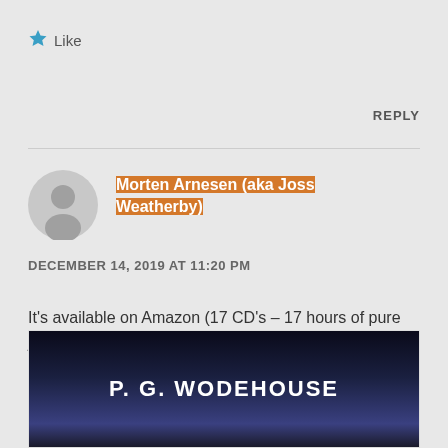★ Like
REPLY
Morten Arnesen (aka Joss Weatherby)
DECEMBER 14, 2019 AT 11:20 PM
It's available on Amazon (17 CD's – 17 hours of pure joy 🙂 )
[Figure (photo): Book cover or product image with text 'P. G. WODEHOUSE' on a dark background]